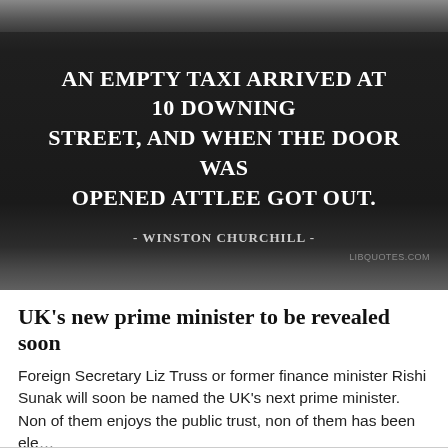[Figure (illustration): Dark background quote image with white text reading: AN EMPTY TAXI ARRIVED AT 10 DOWNING STREET, AND WHEN THE DOOR WAS OPENED ATTLEE GOT OUT. Attribution: - WINSTON CHURCHILL - Watermark: LIBQUOTES.COM]
UK's new prime minister to be revealed soon
Foreign Secretary Liz Truss or former finance minister Rishi Sunak will soon be named the UK's next prime minister. Non of them enjoys the public trust, non of them has been ele...